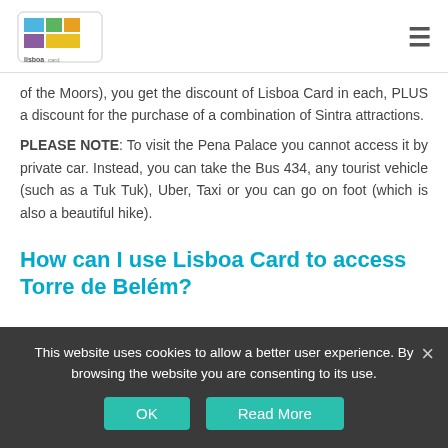Lisboa Card [logo] [hamburger menu]
of the Moors), you get the discount of Lisboa Card in each, PLUS a discount for the purchase of a combination of Sintra attractions.
PLEASE NOTE: To visit the Pena Palace you cannot access it by private car. Instead, you can take the Bus 434, any tourist vehicle (such as a Tuk Tuk), Uber, Taxi or you can go on foot (which is also a beautiful hike).
How can I use Lisboa Card to access Torre de Belém?
This website uses cookies to allow a better user experience. By browsing the website you are consenting to its use.